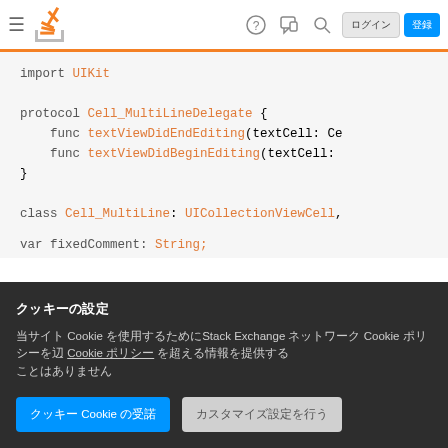Stack Overflow navigation bar with logo, help, chat, search, and login/signup buttons
[Figure (screenshot): Stack Overflow code editor screenshot showing Swift protocol and class definitions]
Cookie consent popup: title in Thai, description mentioning Stack Exchange, Cookie policy link, and two buttons: accept and decline cookies
var fixedComment: String;